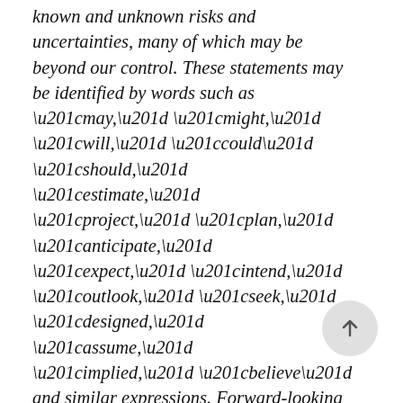known and unknown risks and uncertainties, many of which may be beyond our control. These statements may be identified by words such as “may,” “might,” “will,” “could” “should,” “estimate,” “project,” “plan,” “anticipate,” “expect,” “intend,” “outlook,” “seek,” “designed,” “assume,” “implied,” “believe” and similar expressions. Forward-looking statements are subject to certain risks, trends and uncertainties that could cause actual results and achievements to differ materially from those expressed in such forward-looking statements. Such risks, trends and uncertainties include the Company’s ability to satisfy all of the NYSE listing requirements on or prior to the date when the Company’s Class A common stock is expected to begin trading on the NYSE.